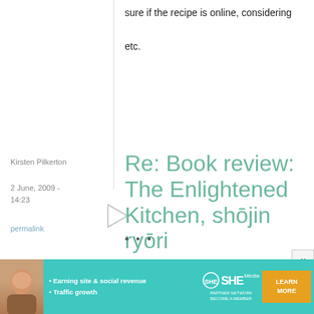sure if the recipe is online, considering etc.
Kirsten Pilkerton
2 June, 2009 - 14:23
permalink
Re: Book review: The Enlightened Kitchen, shōjin ryōri
...
I'm very intrigued
[Figure (infographic): SHE Partner Network advertisement banner with woman photo, bullet points about earning site & social revenue and traffic growth, SHE logo, and Learn More button]